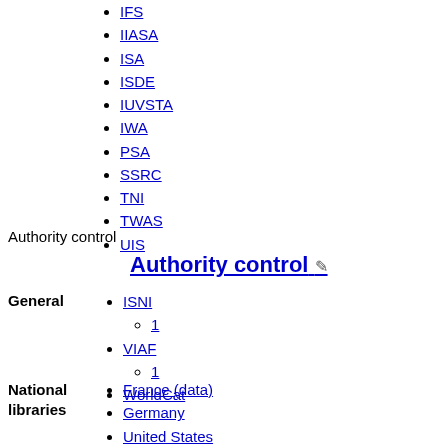IFS
IIASA
ISA
ISDE
IUVSTA
IWA
PSA
SSRC
TNI
TWAS
UIS
Authority control
Authority control
General
ISNI
1
VIAF
1
WorldCat
National libraries
France (data)
Germany
United States
Czech Republic